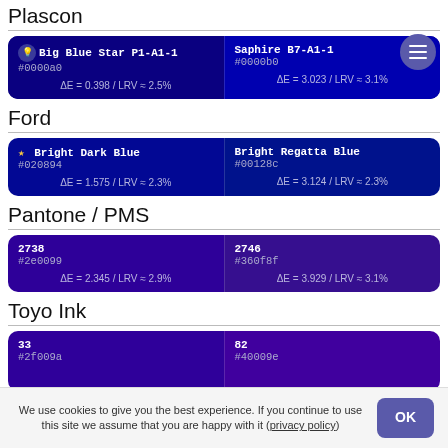Plascon
| Color 1 | Color 2 |
| --- | --- |
| Big Blue Star P1-A1-1 #0000a0 ΔE = 0.398 / LRV ≈ 2.5% | Saphire B7-A1-1 #0000b0 ΔE = 3.023 / LRV ≈ 3.1% |
Ford
| Color 1 | Color 2 |
| --- | --- |
| ★ Bright Dark Blue #020894 ΔE = 1.575 / LRV ≈ 2.3% | Bright Regatta Blue #00128c ΔE = 3.124 / LRV ≈ 2.3% |
Pantone / PMS
| Color 1 | Color 2 |
| --- | --- |
| 2738 #2e0099 ΔE = 2.345 / LRV ≈ 2.9% | 2746 #360f8f ΔE = 3.929 / LRV ≈ 3.1% |
Toyo Ink
| Color 1 | Color 2 |
| --- | --- |
| 33 #2f009a | 82 #40009e |
We use cookies to give you the best experience. If you continue to use this site we assume that you are happy with it (privacy policy)